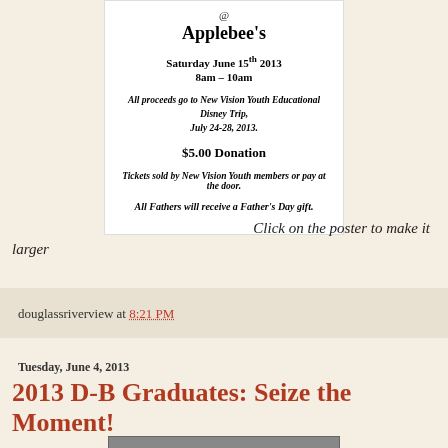[Figure (other): Poster for a pancake breakfast fundraiser at Applebee's on Saturday June 15th 2013, 8am-10am. All proceeds go to New Vision Youth Educational Disney Trip, July 24-28, 2013. $5.00 Donation. Tickets sold by New Vision Youth members or pay at the door. All Fathers will receive a Father's Day gift.]
Click on the poster to make it larger
douglassriverview at 8:21 PM
Tuesday, June 4, 2013
2013 D-B Graduates: Seize the Moment!
[Figure (photo): Partial photo strip at the bottom of the page]